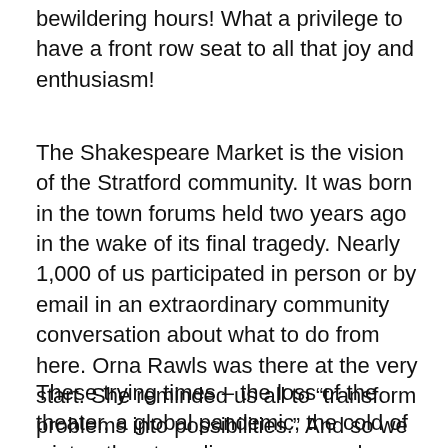bewildering hours! What a privilege to have a front row seat to all that joy and enthusiasm!
The Shakespeare Market is the vision of the Stratford community. It was born in the town forums held two years ago in the wake of its final tragedy. Nearly 1,000 of us participated in person or by email in an extraordinary community conversation about what to do from here. Orna Rawls was there at the very start. She reminded us all to “transform problems into possibilities.” And so we have!
These trying times – the loss of the theater, a global pandemic, the cold of winter, the struggling economy – have all conspired